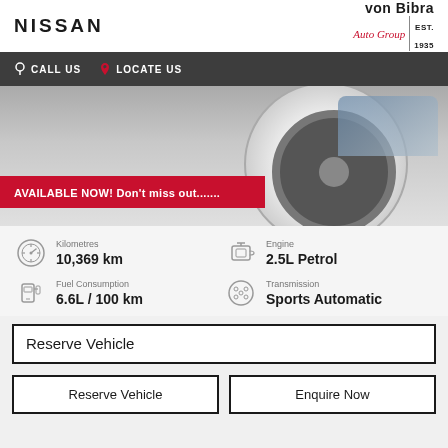[Figure (logo): NISSAN text logo in bold black letters]
[Figure (logo): von Bibra Auto Group EST. 1935 logo]
CALL US   LOCATE US   MENU
[Figure (photo): Partial view of a car wheel/tire on a white circular platform, with a red banner overlay reading AVAILABLE NOW! Don't miss out.......]
Kilometres
10,369 km
Engine
2.5L Petrol
Fuel Consumption
6.6L / 100 km
Transmission
Sports Automatic
Reserve Vehicle
Reserve Vehicle
Enquire Now